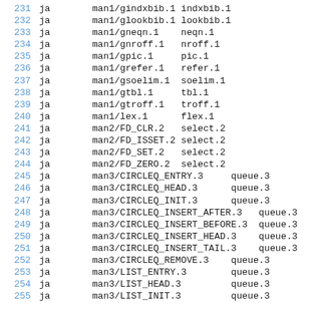231 ja    man1/gindxbib.1 indxbib.1
232 ja    man1/glookbib.1 lookbib.1
233 ja    man1/gneqn.1     neqn.1
234 ja    man1/gnroff.1   nroff.1
235 ja    man1/gpic.1     pic.1
236 ja    man1/grefer.1   refer.1
237 ja    man1/gsoelim.1  soelim.1
238 ja    man1/gtbl.1     tbl.1
239 ja    man1/gtroff.1   troff.1
240 ja    man1/lex.1      flex.1
241 ja    man2/FD_CLR.2   select.2
242 ja    man2/FD_ISSET.2 select.2
243 ja    man2/FD_SET.2   select.2
244 ja    man2/FD_ZERO.2  select.2
245 ja    man3/CIRCLEQ_ENTRY.3     queue.3
246 ja    man3/CIRCLEQ_HEAD.3      queue.3
247 ja    man3/CIRCLEQ_INIT.3      queue.3
248 ja    man3/CIRCLEQ_INSERT_AFTER.3    queue.3
249 ja    man3/CIRCLEQ_INSERT_BEFORE.3   queue.3
250 ja    man3/CIRCLEQ_INSERT_HEAD.3     queue.3
251 ja    man3/CIRCLEQ_INSERT_TAIL.3     queue.3
252 ja    man3/CIRCLEQ_REMOVE.3    queue.3
253 ja    man3/LIST_ENTRY.3        queue.3
254 ja    man3/LIST_HEAD.3         queue.3
255 ja    man3/LIST_INIT.3         queue.3